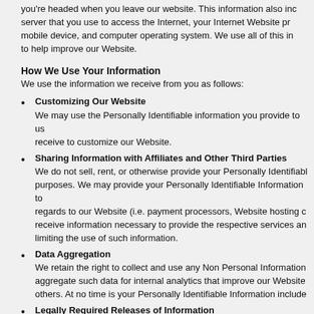you're headed when you leave our website. This information also includes the server that you use to access the Internet, your Internet Website provider, mobile device, and computer operating system. We use all of this information to help improve our Website.
How We Use Your Information
We use the information we receive from you as follows:
Customizing Our Website
We may use the Personally Identifiable information you provide to us or receive to customize our Website.
Sharing Information with Affiliates and Other Third Parties
We do not sell, rent, or otherwise provide your Personally Identifiable purposes. We may provide your Personally Identifiable Information to regards to our Website (i.e. payment processors, Website hosting c receive information necessary to provide the respective services an limiting the use of such information.
Data Aggregation
We retain the right to collect and use any Non Personal Information aggregate such data for internal analytics that improve our Website others. At no time is your Personally Identifiable Information include
Legally Required Releases of Information
We may be legally required to disclose your Personally Identifiable Information by subpoena, law, or other legal process; (b) necessary to assist law